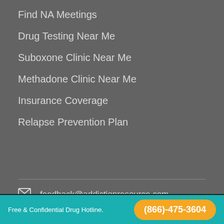Find NA Meetings
Drug Testing Near Me
Suboxone Clinic Near Me
Methadone Clinic Near Me
Insurance Coverage
Relapse Prevention Plan
feedback@addictionresource.com
20 E. Thomas Road, Suite 2200
Phoenix, AZ 85012
[Figure (photo): Dark photo strip at bottom of page]
Free & Confidential Drug Hotline.  (866)-475-3604